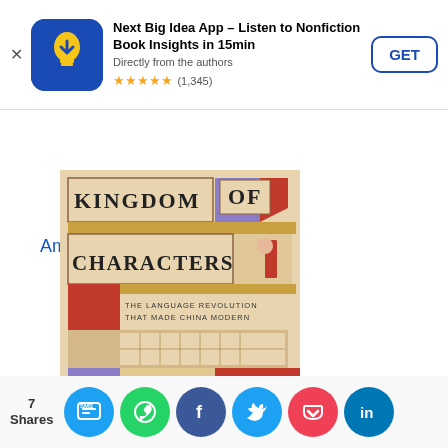[Figure (screenshot): App store advertisement banner for 'Next Big Idea App – Listen to Nonfiction Book Insights in 15min'. Blue square icon with lightbulb, title text, 'Directly from the authors' subtitle, star rating 5 stars (1,345), and a GET button.]
Amazon
[Figure (photo): Book cover of 'Kingdom of Characters: The Language Revolution That Made China Modern']
[Figure (infographic): Social share bar showing 7 Shares with buttons for SMS, WhatsApp, Facebook, Twitter, Pocket, and LinkedIn]